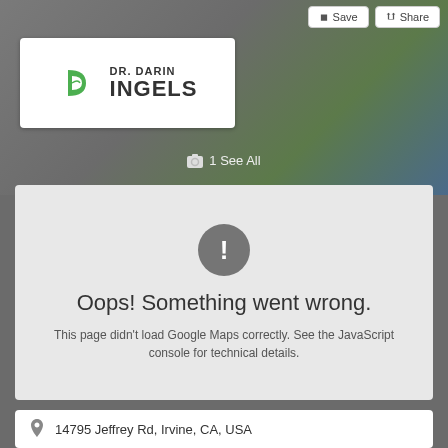[Figure (screenshot): Google Maps UI screenshot showing Dr. Darin Ingels practice listing with Save and Share buttons, logo, map error, and address]
Save
Share
[Figure (logo): Dr. Darin Ingels logo with green leaf icon on white card]
1 See All
Oops! Something went wrong.
This page didn't load Google Maps correctly. See the JavaScript console for technical details.
14795 Jeffrey Rd, Irvine, CA, USA